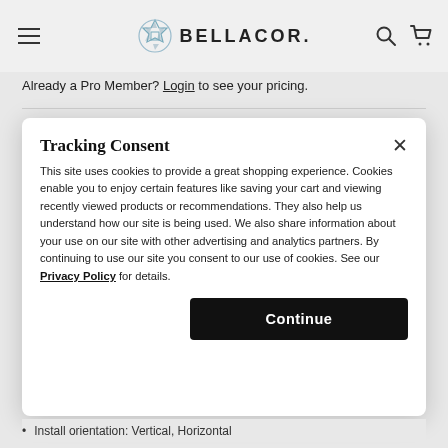BELLACOR.
Already a Pro Member? Login to see your pricing.
Tracking Consent
This site uses cookies to provide a great shopping experience. Cookies enable you to enjoy certain features like saving your cart and viewing recently viewed products or recommendations. They also help us understand how our site is being used. We also share information about your use on our site with other advertising and analytics partners. By continuing to use our site you consent to our use of cookies. See our Privacy Policy for details.
Install orientation: Vertical, Horizontal